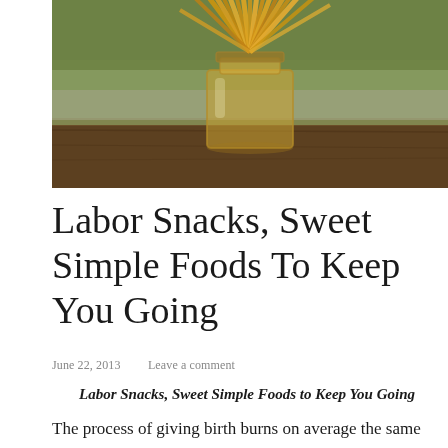[Figure (photo): A glass mason jar filled with golden/amber honey sticks or candy sticks, photographed outdoors on a wooden surface with grass in the background, warm golden light.]
Labor Snacks, Sweet Simple Foods To Keep You Going
June 22, 2013   Leave a comment
Labor Snacks, Sweet Simple Foods to Keep You Going
The process of giving birth burns on average the same amount of calories as a 30mile hike! When thinking about